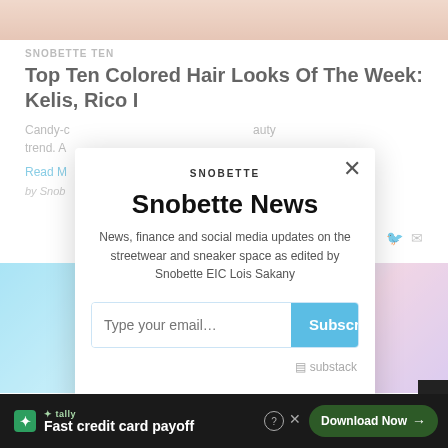SNOBETTE TEN
Top Ten Colored Hair Looks Of The Week: Kelis, Rico I
Candy-c... auty trend. A...
Read M...
by Snob...
[Figure (screenshot): Snobette newsletter signup modal overlay with title 'Snobette News', description about news finance and social media updates on streetwear and sneaker space edited by Snobette EIC Lois Sakany, email input field with Subscribe button, and substack branding]
[Figure (photo): Bottom portion of a colorful photo with cyan/blue and rainbow colors visible behind the modal]
[Figure (screenshot): Tally advertisement bar at bottom: Fast credit card payoff, Download Now button]